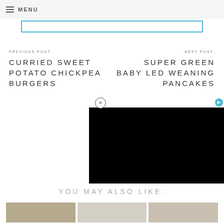MENU
[Figure (screenshot): Search input bar with blue border]
PREVIOUS POST:
CURRIED SWEET POTATO CHICKPEA BURGERS
NEXT POST:
SUPER GREEN BABY LED WEANING PANCAKES
[Figure (screenshot): Black video overlay panel with close (x) button and ad icon]
YOU MAY ALSO LIKE:
[Figure (photo): Three food thumbnail images in a row]